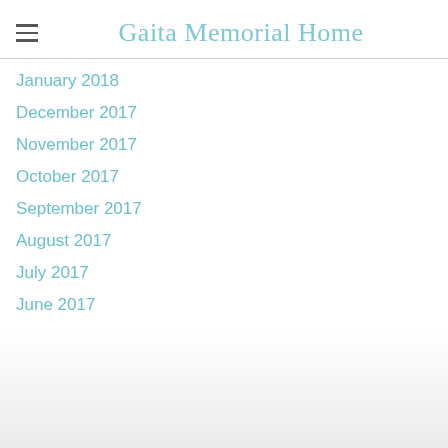Gaita Memorial Home
January 2018
December 2017
November 2017
October 2017
September 2017
August 2017
July 2017
June 2017